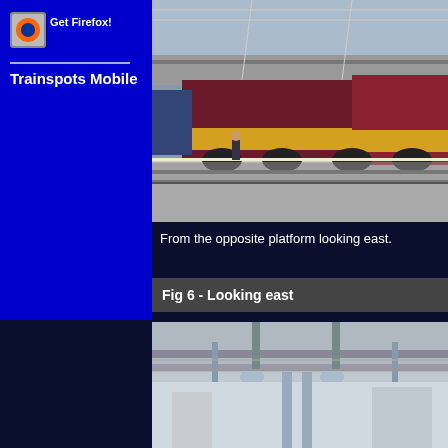[Figure (logo): Get Firefox! badge/button with text]
Trainspots Mobile
[Figure (photo): Train at a railway station platform, viewed from opposite platform looking east, showing a locomotive in maroon and yellow livery with overhead wires and station canopy]
From the opposite platform looking east.
Fig 6 - Looking east
[Figure (photo): Railway infrastructure photo showing overhead gantry and electrical equipment, looking east at a station]